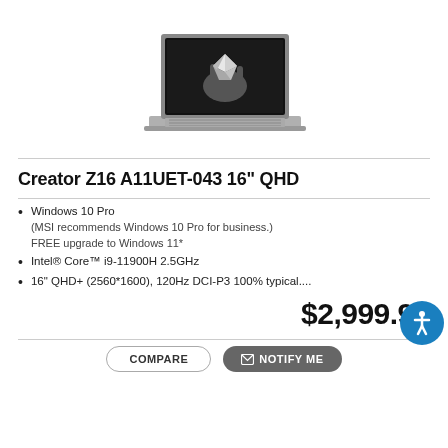[Figure (photo): MSI Creator Z16 laptop open showing a black and white hand holding a diamond on screen, viewed from slight angle]
Creator Z16 A11UET-043 16" QHD
Windows 10 Pro
(MSI recommends Windows 10 Pro for business.)
FREE upgrade to Windows 11*
Intel® Core™ i9-11900H 2.5GHz
16" QHD+ (2560*1600), 120Hz DCI-P3 100% typical....
$2,999.99
COMPARE
✉ NOTIFY ME